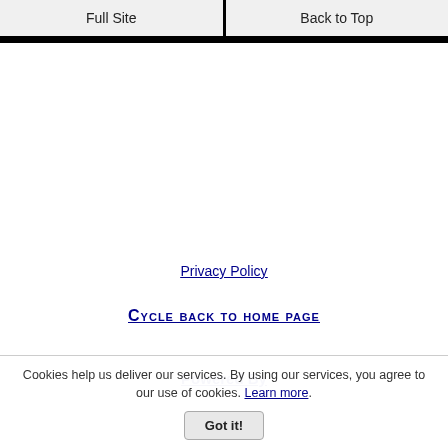Full Site | Back to Top
Privacy Policy
Cycle back to home page
Powered By
Cookies help us deliver our services. By using our services, you agree to our use of cookies. Learn more. Got it!